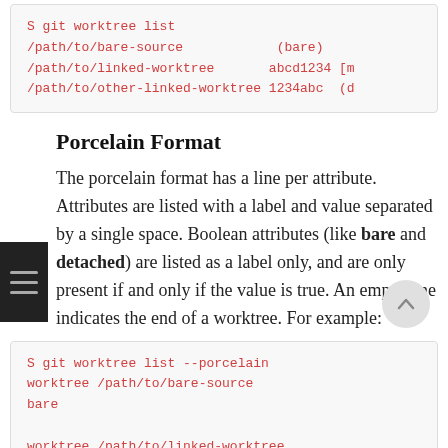[Figure (screenshot): Code block showing: S git worktree list /path/to/bare-source (bare) /path/to/linked-worktree abcd1234 [m /path/to/other-linked-worktree 1234abc (d]
Porcelain Format
The porcelain format has a line per attribute. Attributes are listed with a label and value separated by a single space. Boolean attributes (like bare and detached) are listed as a label only, and are only present if and only if the value is true. An empty line indicates the end of a worktree. For example:
[Figure (screenshot): Code block showing: S git worktree list --porcelain worktree /path/to/bare-source bare  worktree /path/to/linked-worktree HEAD abcd1234abcd1234abcd1234abcd1234abcd12 branch refs/heads/master]